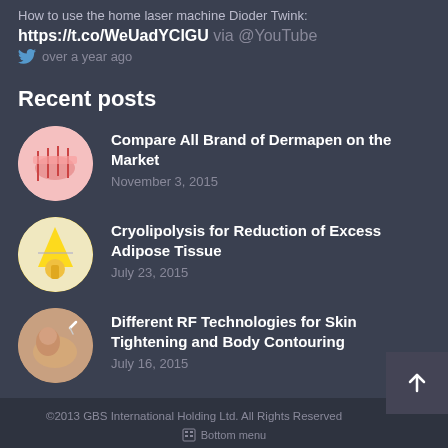How to use the home laser machine Dioder Twink:
https://t.co/WeUadYClGU via @YouTube
over a year ago
Recent posts
Compare All Brand of Dermapen on the Market — November 3, 2015
Cryolipolysis for Reduction of Excess Adipose Tissue — July 23, 2015
Different RF Technologies for Skin Tightening and Body Contouring — July 16, 2015
©2013 GBS International Holding Ltd. All Rights Reserved
Bottom menu